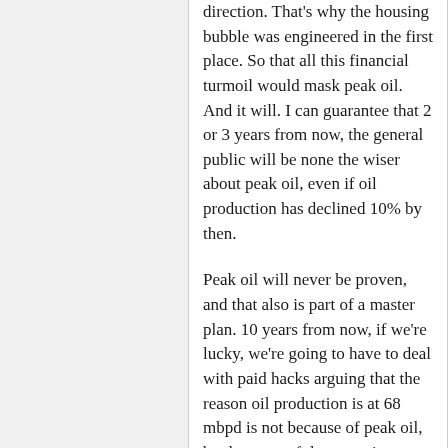direction. That's why the housing bubble was engineered in the first place. So that all this financial turmoil would mask peak oil. And it will. I can guarantee that 2 or 3 years from now, the general public will be none the wiser about peak oil, even if oil production has declined 10% by then.
Peak oil will never be proven, and that also is part of a master plan. 10 years from now, if we're lucky, we're going to have to deal with paid hacks arguing that the reason oil production is at 68 mbpd is not because of peak oil, but because of the recession, failure to invest, war, terrorism, etc.